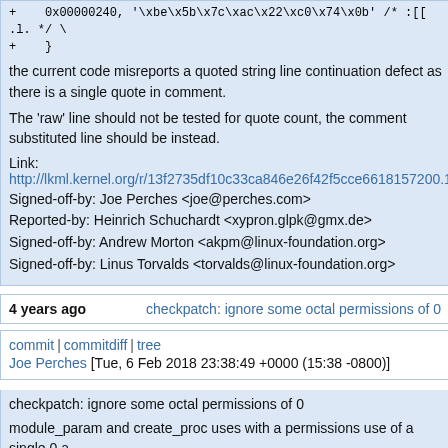+ 	0x00000240, '\xbe\x5b\x7c\xac\x22\xc0\x74\x0b' /* :[[ .l. */ 
+	}
the current code misreports a quoted string line continuation defect as there is a single quote in comment.
The 'raw' line should not be tested for quote count, the comment substituted line should be instead.
Link:
http://lkml.kernel.org/r/13f2735df10c33ca846e26f42f5cce6618157200.1513...
Signed-off-by: Joe Perches <joe@perches.com>
Reported-by: Heinrich Schuchardt <xypron.glpk@gmx.de>
Signed-off-by: Andrew Morton <akpm@linux-foundation.org>
Signed-off-by: Linus Torvalds <torvalds@linux-foundation.org>
4 years ago
checkpatch: ignore some octal permissions of 0
commit | commitdiff | tree
Joe Perches [Tue, 6 Feb 2018 23:38:49 +0000 (15:38 -0800)]
checkpatch: ignore some octal permissions of 0
module_param and create_proc uses with a permissions use of a single 0 a "special" and should not emit any warning.